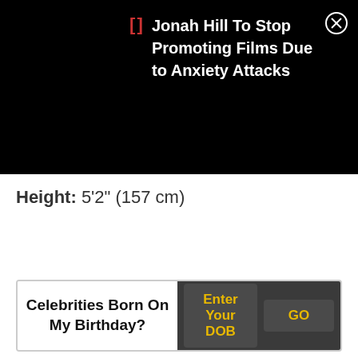Jonah Hill To Stop Promoting Films Due to Anxiety Attacks
Height: 5'2" (157 cm)
Celebrities Born On My Birthday? Enter Your DOB GO